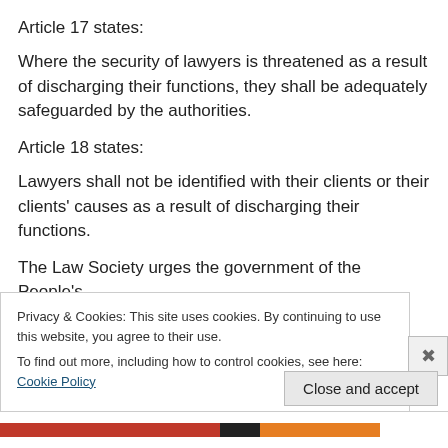Article 17 states:
Where the security of lawyers is threatened as a result of discharging their functions, they shall be adequately safeguarded by the authorities.
Article 18 states:
Lawyers shall not be identified with their clients or their clients' causes as a result of discharging their functions.
The Law Society urges the government of the People's
Privacy & Cookies: This site uses cookies. By continuing to use this website, you agree to their use.
To find out more, including how to control cookies, see here: Cookie Policy